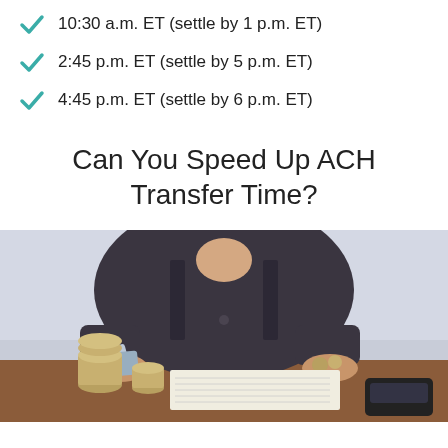10:30 a.m. ET (settle by 1 p.m. ET)
2:45 p.m. ET (settle by 5 p.m. ET)
4:45 p.m. ET (settle by 6 p.m. ET)
Can You Speed Up ACH Transfer Time?
[Figure (photo): A person in a dark blazer sitting at a desk holding credit/debit cards in one hand and coins in the other, with stacked coins and a calculator visible on the desk, and financial documents spread out.]